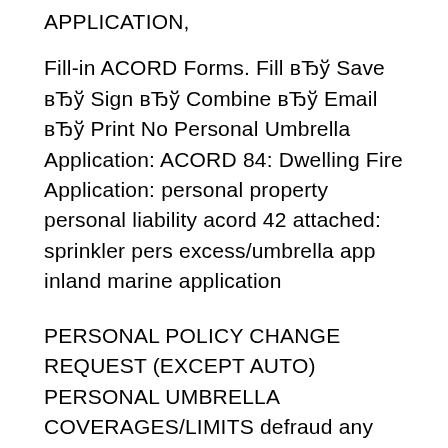APPLICATION,
Fill-in ACORD Forms. Fill вЂў Save вЂў Sign вЂў Combine вЂў Email вЂў Print No Personal Umbrella Application: ACORD 84: Dwelling Fire Application: personal property personal liability acord 42 attached: sprinkler pers excess/umbrella app inland marine application
PERSONAL POLICY CHANGE REQUEST (EXCEPT AUTO) PERSONAL UMBRELLA COVERAGES/LIMITS defraud any insurance company or another person files an application for ACORD 80, Homeowner Insurance Application. ACORD 83, Personal Umbrella . Fill acord